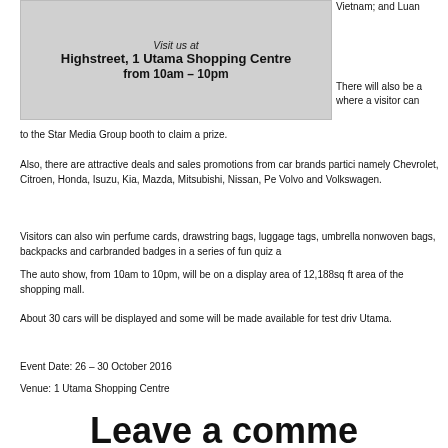[Figure (photo): Advertisement image with text: Visit us at Highstreet, 1 Utama Shopping Centre from 10am - 10pm]
Vietnam; and Luan
There will also be a where a visitor can
to the Star Media Group booth to claim a prize.
Also, there are attractive deals and sales promotions from car brands partici namely Chevrolet, Citroen, Honda, Isuzu, Kia, Mazda, Mitsubishi, Nissan, Pe Volvo and Volkswagen.
Visitors can also win perfume cards, drawstring bags, luggage tags, umbrella nonwoven bags, backpacks and carbranded badges in a series of fun quiz a
The auto show, from 10am to 10pm, will be on a display area of 12,188sq ft area of the shopping mall.
About 30 cars will be displayed and some will be made available for test driv Utama.
Event Date: 26 – 30 October 2016
Venue: 1 Utama Shopping Centre
Leave a comme